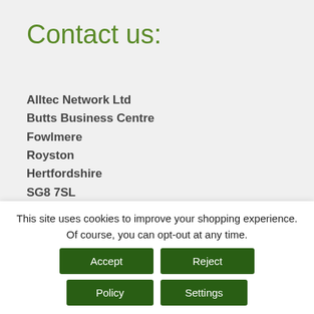Contact us:
Alltec Network Ltd
Butts Business Centre
Fowlmere
Royston
Hertfordshire
SG8 7SL
T: 01763 208222
E: info@alltec.co.uk
Opening Hours:
9am - 5pm Mon -Thursday
This site uses cookies to improve your shopping experience. Of course, you can opt-out at any time.